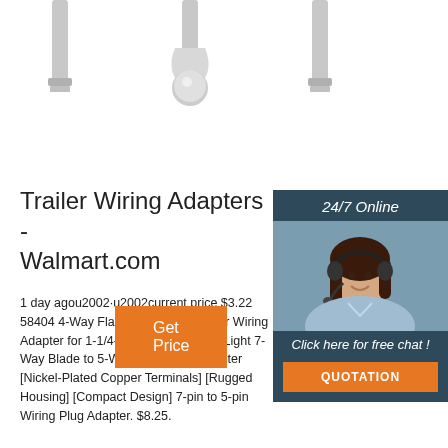[Figure (photo): Three metal trailer hitch/connector parts shown from below against white background]
[Figure (photo): 24/7 Online chat widget with woman wearing headset on dark blue-gray background, with orange QUOTATION button]
Trailer Wiring Adapters - Walmart.com
1 day agou2002·u2002current price $3.22 58404 4-Way Flat Vehicle-Side Trailer Wiring Adapter for 1-1/4-Inch License Plate Light 7-Way Blade to 5-Way Flat Trailer Adapter [Nickel-Plated Copper Terminals] [Rugged Housing] [Compact Design] 7-pin to 5-pin Wiring Plug Adapter. $8.25.
Get Price